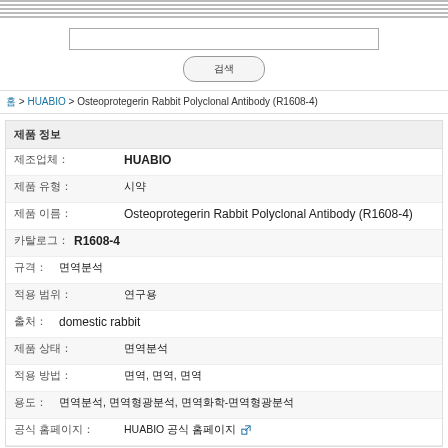홈 > HUABIO > Osteoprotegerin Rabbit Polyclonal Antibody (R1608-4)
제품 정보
제조업체：HUABIO
제품 유형：시약
제품 이름：Osteoprotegerin Rabbit Polyclonal Antibody (R1608-4)
카탈로그：R1608-4
규격：면역분석
적용 범위：연구용
출처：domestic rabbit
제품 상태：면역분석
적용 방법：면역, 면역, 면역
용도：면역분석, 면역형광분석, 면역화학-면역형광분석
공식 홈페이지：HUABIO 공식 홈페이지